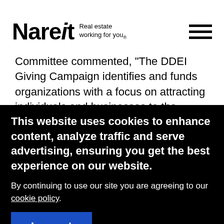Nareit Real estate working for you.
Committee commented, "The DDEI Giving Campaign identifies and funds organizations with a focus on attracting individuals and businesses to the publicly listed REIT industry that creates not just a pipeline but also a long-term partnership for both groups—something that will benefit us all."
Bartlett is a passionate supporter of the industry
This website uses cookies to enhance content, analyze traffic and serve advertising, ensuring you get the best experience on our website.
By continuing to use our site you are agreeing to our cookie policy.
I accept